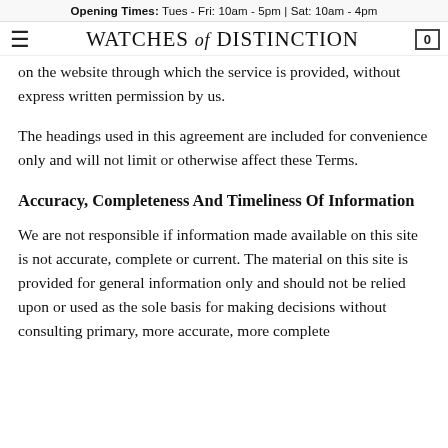Opening Times: Tues - Fri: 10am - 5pm | Sat: 10am - 4pm
WATCHES of DISTINCTION  0
resell or display any portion of the Service, use or on the website through which the service is provided, without express written permission by us.
The headings used in this agreement are included for convenience only and will not limit or otherwise affect these Terms.
Accuracy, Completeness And Timeliness Of Information
We are not responsible if information made available on this site is not accurate, complete or current. The material on this site is provided for general information only and should not be relied upon or used as the sole basis for making decisions without consulting primary, more accurate, more complete